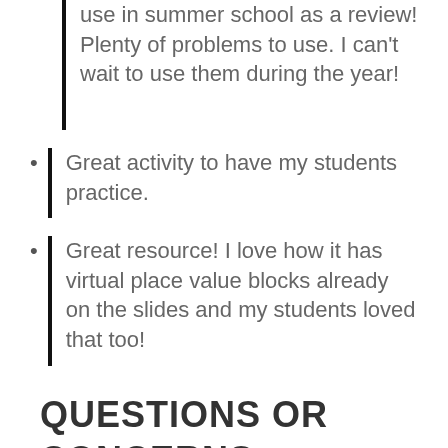use in summer school as a review! Plenty of problems to use. I can't wait to use them during the year!
Great activity to have my students practice.
Great resource! I love how it has virtual place value blocks already on the slides and my students loved that too!
QUESTIONS OR CONCERNS